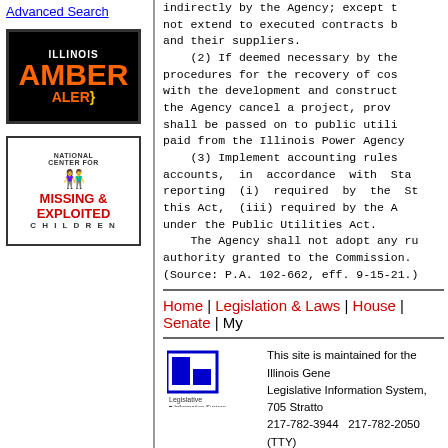Advanced Search
[Figure (logo): Illinois Amber Alert logo with orange text on black background]
[Figure (logo): National Center for Missing & Exploited Children logo]
indirectly by the Agency; except t not extend to executed contracts b and their suppliers.
(2) If deemed necessary by the procedures for the recovery of cos with the development and construct the Agency cancel a project, prov shall be passed on to public utili paid from the Illinois Power Agency
(3) Implement accounting rules accounts, in accordance with Sta reporting (i) required by the St this Act, (iii) required by the A under the Public Utilities Act.
The Agency shall not adopt any r authority granted to the Commission.
(Source: P.A. 102-662, eff. 9-15-21.)
Home | Legislation & Laws | House | Senate | My ...
This site is maintained for the Illinois Gene Legislative Information System, 705 Stratto 217-782-3944   217-782-2050 (TTY)